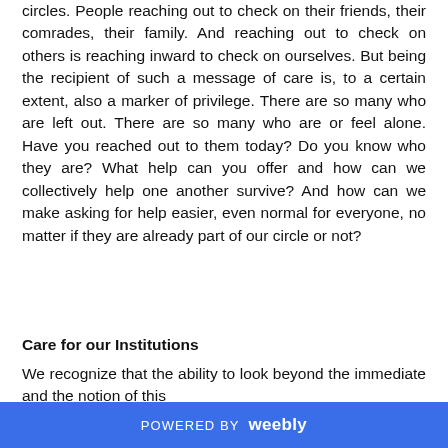circles. People reaching out to check on their friends, their comrades, their family. And reaching out to check on others is reaching inward to check on ourselves. But being the recipient of such a message of care is, to a certain extent, also a marker of privilege. There are so many who are left out. There are so many who are or feel alone. Have you reached out to them today? Do you know who they are? What help can you offer and how can we collectively help one another survive? And how can we make asking for help easier, even normal for everyone, no matter if they are already part of our circle or not?
Care for our Institutions
We recognize that the ability to look beyond the immediate and the notion of this...
POWERED BY weebly